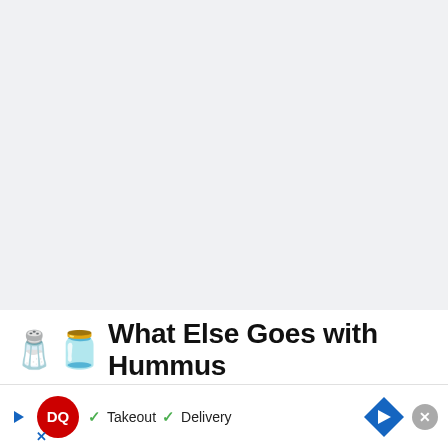[Figure (photo): Large light gray placeholder image area at the top of the page, approximately 310px tall, no visible content]
🧂🫙 What Else Goes with Hummus
There a… o make alternati… lust a
[Figure (screenshot): Dairy Queen (DQ) ad banner at the bottom showing a play button, DQ logo, checkmarks with 'Takeout' and 'Delivery' text, a navigation arrow icon, an X close button, and an X mark below the play button]